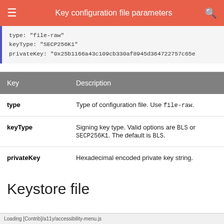Key configuration file parameters
type: "file-raw"
keyType: "SECP256K1"
privateKey: "0x25b1166a43c109cb330af8945d364722757c65e
| Key | Description |
| --- | --- |
| type | Type of configuration file. Use file-raw. |
| keyType | Signing key type. Valid options are BLS or SECP256K1. The default is BLS. |
| privateKey | Hexadecimal encoded private key string. |
Keystore file
Loading [Contrib]/a11y/accessibility-menu.js